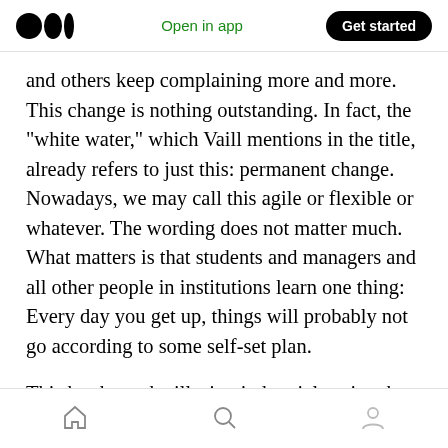Open in app  Get started
and others keep complaining more and more. This change is nothing outstanding. In fact, the “white water,” which Vaill mentions in the title, already refers to just this: permanent change. Nowadays, we may call this agile or flexible or whatever. The wording does not matter much. What matters is that students and managers and all other people in institutions learn one thing: Every day you get up, things will probably not go according to some self-set plan.
This has been the illusion industrial society has
Home  Search  Profile